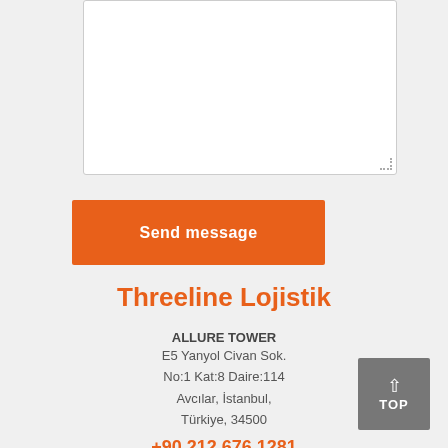[Figure (other): White textarea input box with resize handle in bottom-right corner]
Send message
Threeline Lojistik
ALLURE TOWER
E5 Yanyol Civan Sok.
No:1 Kat:8 Daire:114
Avcılar, İstanbul,
Türkiye, 34500
+90 212 676 1281
info@threelinelojistik.com
[Figure (other): Gray TOP button with upward arrow in bottom-right corner]